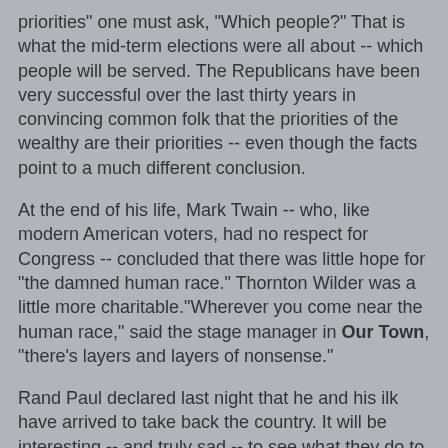priorities" one must ask, "Which people?" That is what the mid-term elections were all about -- which people will be served. The Republicans have been very successful over the last thirty years in convincing common folk that the priorities of the wealthy are their priorities -- even though the facts point to a much different conclusion.
At the end of his life, Mark Twain -- who, like modern American voters, had no respect for Congress -- concluded that there was little hope for "the damned human race." Thornton Wilder was a little more charitable."Wherever you come near the human race," said the stage manager in Our Town, "there's layers and layers of nonsense."
Rand Paul declared last night that he and his ilk have arrived to take back the country. It will be interesting -- and truly sad -- to see what they do to it.
This entry is cross posted at The Moderate Voice.
Owen Gray at 7:59 am   8 comments: